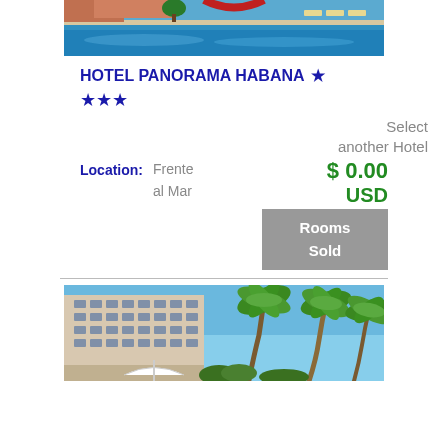[Figure (photo): Hotel pool area with blue water, lounge chairs, and tropical setting]
HOTEL PANORAMA HABANA ★
★★★
Select another Hotel
Location: Frente al Mar
$ 0.00 USD
Rooms Sold
[Figure (photo): Hotel building exterior with palm trees and blue sky]